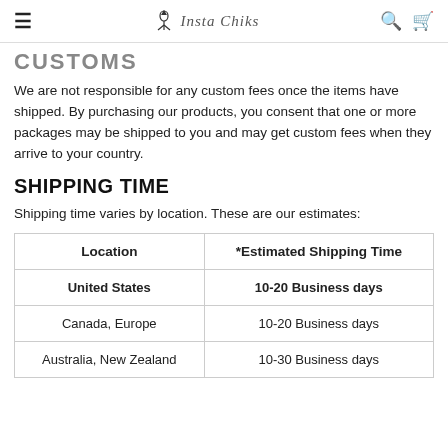Insta Chiks
CUSTOMS
We are not responsible for any custom fees once the items have shipped. By purchasing our products, you consent that one or more packages may be shipped to you and may get custom fees when they arrive to your country.
SHIPPING TIME
Shipping time varies by location. These are our estimates:
| Location | *Estimated Shipping Time |
| --- | --- |
| United States | 10-20 Business days |
| Canada, Europe | 10-20 Business days |
| Australia, New Zealand | 10-30 Business days |